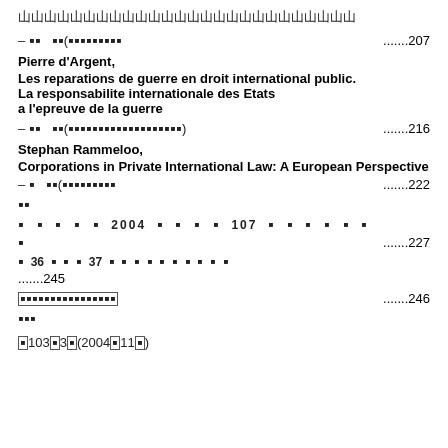&#x5C71;&#x672C;&#x8349;&#x592A;&#x90CE;&#x3001;&#x8349;&#x5C71;&#x592A;&#x90CE;&#x3001;&#x5C71;&#x672C;&#x592A;&#x90CE;&#x3001;&#x5C71;&#x672C;&#x592A;&#x90CE;&#x3001;
– ?? ??(?????????) .......207
Pierre d'Argent,
Les reparations de guerre en droit international public.
La responsabilite internationale des Etats
a l'epreuve de la guerre
– ?? ??(?????????????????) .......216
Stephan Rammeloo,
Corporations in Private International Law: A European Perspective
– ? ??(????????? .......222
??
? ? ? ? ? 2004 ? ? ? ? 107 ? ? ? ? ? ? ? .......227
? 36 ? ? ? 37 ? ? ? ? ? ? ? ? ? ? .......245
???????????????? .......246
???
?103?3?(2004?11?)